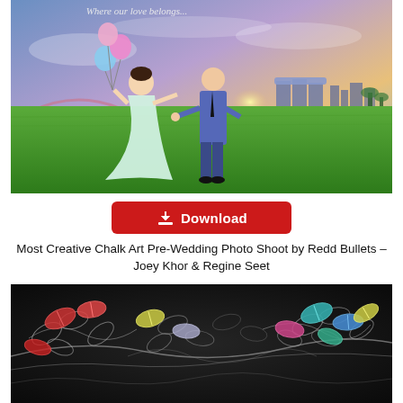[Figure (photo): Pre-wedding photo of a couple on green grass with Singapore Marina Bay Sands skyline at sunset. Woman in white dress holding balloons, man in blue suit, holding hands running.]
[Figure (other): Red download button with download icon and text 'Download']
Most Creative Chalk Art Pre-Wedding Photo Shoot by Redd Bullets – Joey Khor & Regine Seet
[Figure (photo): Chalk art background on dark blackboard with colorful illustrated leaves — red, teal, yellow, pink — forming a decorative nature pattern.]